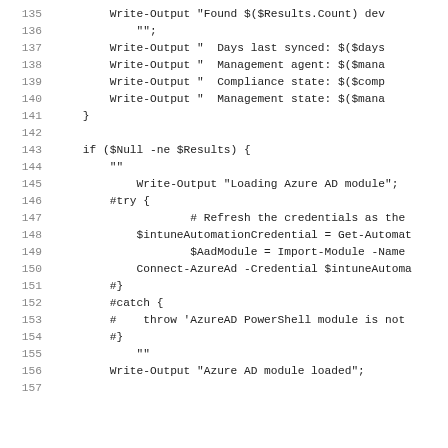135    Write-Output "Found $($Results.Count) dev
136        "";
137        Write-Output "  Days last synced: $($days
138        Write-Output "  Management agent: $($mana
139        Write-Output "  Compliance state: $($comp
140        Write-Output "  Management state: $($mana
141    }
142
143    if ($Null -ne $Results) {
144        ""
145            Write-Output "Loading Azure AD module";
146        #try {
147                    # Refresh the credentials as the
148            $intuneAutomationCredential = Get-Automat
149                    $AadModule = Import-Module -Name
150            Connect-AzureAd -Credential $intuneAutoma
151        #}
152        #catch {
153        #    throw 'AzureAD PowerShell module is not
154        #}
155            ""
156        Write-Output "Azure AD module loaded";
157